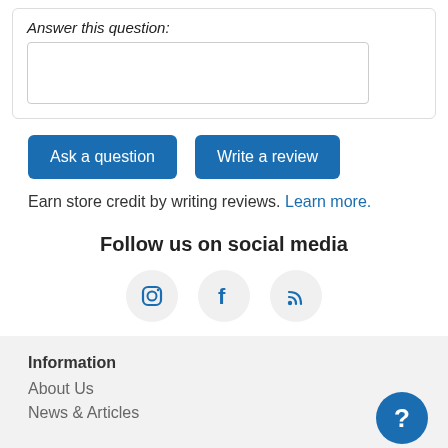Answer this question:
Earn store credit by writing reviews. Learn more.
Follow us on social media
[Figure (illustration): Three social media icons in circles: Instagram camera icon, Facebook 'f' icon, RSS feed icon]
Information
About Us
News & Articles